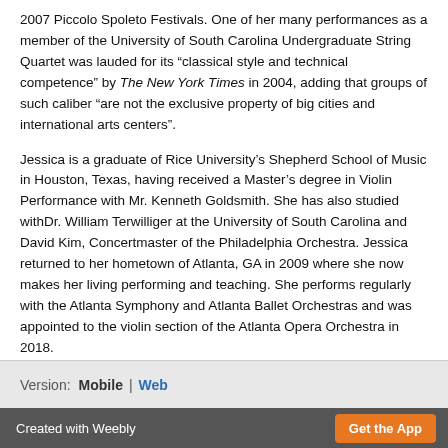2007 Piccolo Spoleto Festivals. One of her many performances as a member of the University of South Carolina Undergraduate String Quartet was lauded for its “classical style and technical competence” by The New York Times in 2004, adding that groups of such caliber “are not the exclusive property of big cities and international arts centers”.
Jessica is a graduate of Rice University’s Shepherd School of Music in Houston, Texas, having received a Master’s degree in Violin Performance with Mr. Kenneth Goldsmith. She has also studied withDr. William Terwilliger at the University of South Carolina and David Kim, Concertmaster of the Philadelphia Orchestra. Jessica returned to her hometown of Atlanta, GA in 2009 where she now makes her living performing and teaching. She performs regularly with the Atlanta Symphony and Atlanta Ballet Orchestras and was appointed to the violin section of the Atlanta Opera Orchestra in 2018.
Version: Mobile | Web
Created with Weebly   Get the App